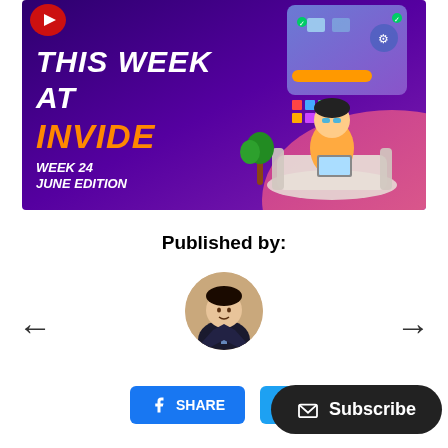[Figure (illustration): Promotional banner for 'This Week at Invide - Week 24 June Edition' with white bold italic title text, orange INVIDE text, on a purple/dark violet background with a 3D cartoon character sitting on a couch with a laptop, surrounded by UI/app icons, on the right side with a pink accent area at bottom right.]
Published by:
[Figure (photo): Circular avatar photo of a person in a dark suit with a tie, appearing professional, against a light beige/tan background.]
[Figure (other): Left navigation arrow (←)]
[Figure (other): Right navigation arrow (→)]
[Figure (other): Facebook Share button (blue, rounded rectangle)]
[Figure (other): Twitter/Tweet button (light blue, rounded rectangle, partially visible)]
[Figure (other): Subscribe button (dark/black, rounded pill shape with envelope icon)]